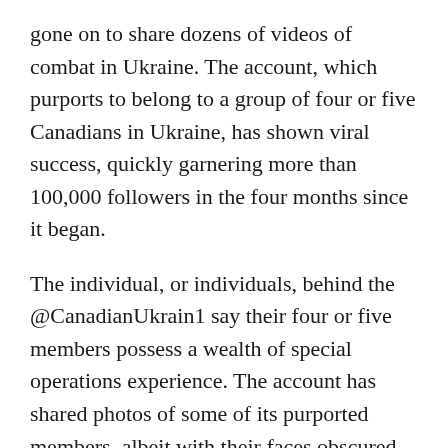gone on to share dozens of videos of combat in Ukraine. The account, which purports to belong to a group of four or five Canadians in Ukraine, has shown viral success, quickly garnering more than 100,000 followers in the four months since it began.
The individual, or individuals, behind the @CanadianUkrain1 say their four or five members possess a wealth of special operations experience. The account has shared photos of some of its purported members, albeit with their faces obscured by masks or blurred or marked up in black ink. Based on their posts, the accounts users include "Steve," the purported team leader and